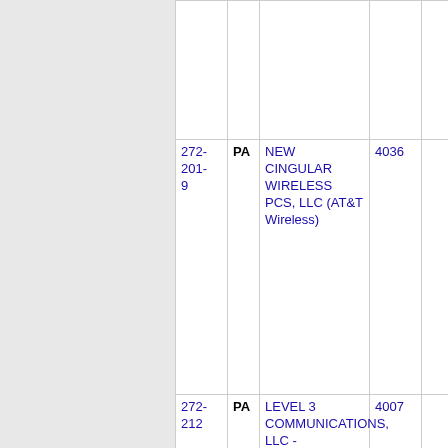| Number | State | Company Name | ID | Extra |
| --- | --- | --- | --- | --- |
|  |  |  |  |  |
| 272-201-9 | PA | NEW CINGULAR WIRELESS PCS, LLC (AT&T Wireless) | 4036 |  |
| 272-212 | PA | LEVEL 3 COMMUNICATIONS, LLC - (CenturyLink, Inc) | 4007 |  |